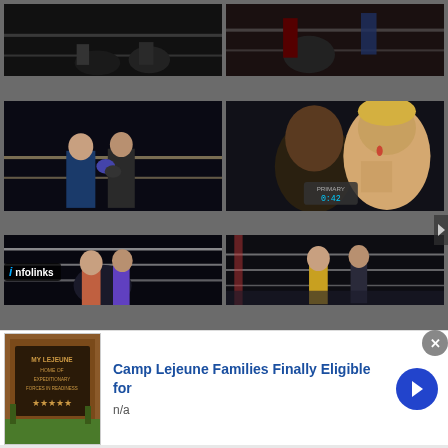[Figure (photo): Top-left: Boxing/Muay Thai fighters in a dark ring, partial view from above]
[Figure (photo): Top-right: Boxing match, two fighters one in blue/red, partial crop]
[Figure (photo): Middle-left: Muay Thai fighters exchanging punches, blue shorts visible, ring corner visible]
[Figure (photo): Middle-right: Close-up of blond tattooed fighter's face with blood, timer overlay showing 0:42]
[Figure (photo): Bottom-left upper: Two MMA/kickboxers grappling in ring with ropes, one in red shorts]
[Figure (photo): Bottom-right upper: Two fighters in boxing ring, one in yellow/gold shorts, crowd visible]
[Figure (photo): Bottom-left lower (partial): Fighter under ring ropes, arena lights]
[Figure (photo): Bottom-right lower (partial): Two men standing in what appears to be a cage/ring area]
infolinks
[Figure (photo): Ad thumbnail: Camp Lejeune military base sign reading HOME OF EXPEDITIONARY FORCES IN READINESS with stars]
Camp Lejeune Families Finally Eligible for
n/a